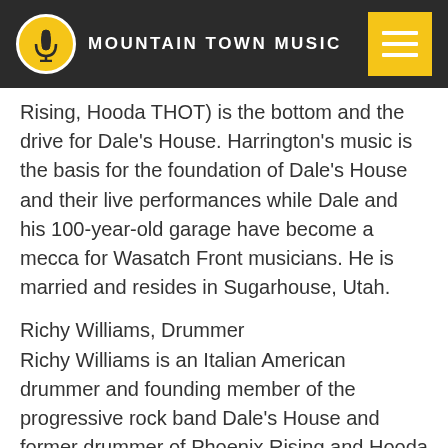MOUNTAIN TOWN MUSIC
Rising, Hooda THOT) is the bottom and the drive for Dale's House. Harrington's music is the basis for the foundation of Dale's House and their live performances while Dale and his 100-year-old garage have become a mecca for Wasatch Front musicians. He is married and resides in Sugarhouse, Utah.
Richy Williams, Drummer
Richy Williams is an Italian American drummer and founding member of the progressive rock band Dale's House and former drummer of Phoenix Rising and Hooda Thot. Known to fans by the nickname 'Fidel', his drumming is renowned for its exacting beats and his live performances for their